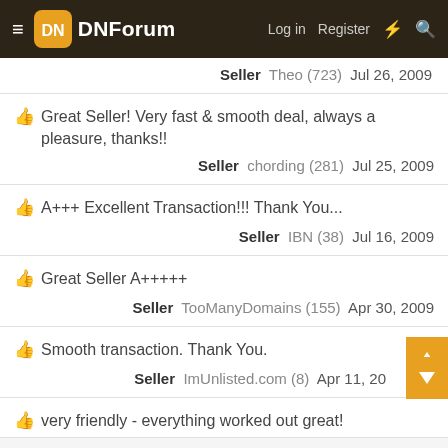DNForum — Log in  Register
Seller  Theo (723)  Jul 26, 2009
👍 Great Seller! Very fast & smooth deal, always a pleasure, thanks!!  Seller  chording (281)  Jul 25, 2009
👍 A+++ Excellent Transaction!!! Thank You...  Seller  IBN (38)  Jul 16, 2009
👍 Great Seller A+++++  Seller  TooManyDomains (155)  Apr 30, 2009
👍 Smooth transaction. Thank You.  Seller  ImUnlisted.com (8)  Apr 11, 20…
👍 very friendly - everything worked out great!